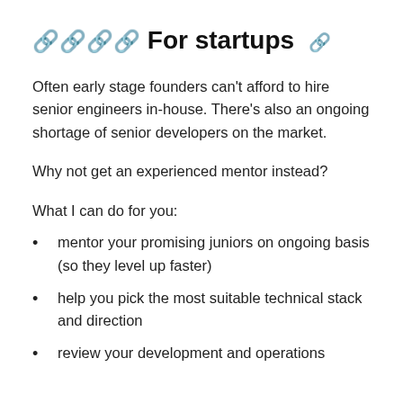🔗🔗🔗🔗 For startups 🔗
Often early stage founders can't afford to hire senior engineers in-house. There's also an ongoing shortage of senior developers on the market.
Why not get an experienced mentor instead?
What I can do for you:
mentor your promising juniors on ongoing basis (so they level up faster)
help you pick the most suitable technical stack and direction
review your development and operations